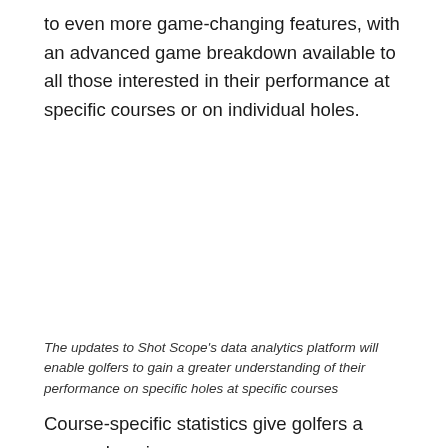to even more game-changing features, with an advanced game breakdown available to all those interested in their performance at specific courses or on individual holes.
The updates to Shot Scope's data analytics platform will enable golfers to gain a greater understanding of their performance on specific holes at specific courses
Course-specific statistics give golfers a comprehensive map